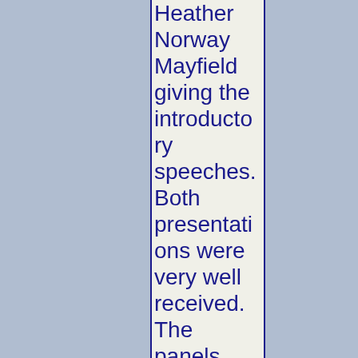Heather Norway Mayfield giving the introductory speeches. Both presentations were very well received. The panels and film festival were also well attended and well received.

After lunch, we